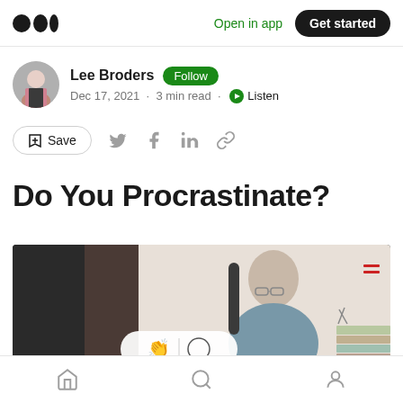Medium logo | Open in app | Get started
Lee Broders · Follow · Dec 17, 2021 · 3 min read · Listen
Save
Do You Procrastinate?
[Figure (photo): Man sitting at a desk, partially visible, with a blurred left portion. Overlay shows clap and comment icons and 'Do you Procrastinate?' caption bar at bottom.]
Home | Search | Profile